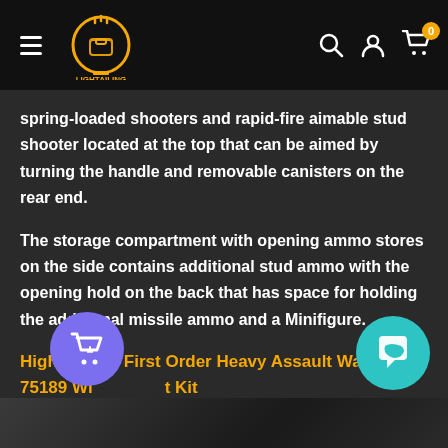LIGHTAILING - navigation header with logo, hamburger menu, search, account, and cart icons
spring-loaded shooters and rapid-fire aimable stud shooter located at the top that can be aimed by turning the handle and removable canisters on the rear end.
The storage compartment with opening ammo stores on the side contains additional stud ammo with the opening hold on the back that has space for holding the additional missile ammo and a Minifigure.
Highlighting First Order Heavy Assault Walker 75189 With Light Kit
[Figure (photo): Bottom strip showing partial product image]